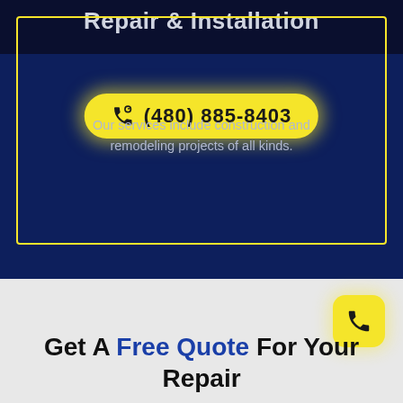Repair & Installation
(480) 885-8403
Our services include construction and remodeling projects of all kinds.
Learn more →
Get A Free Quote For Your Repair